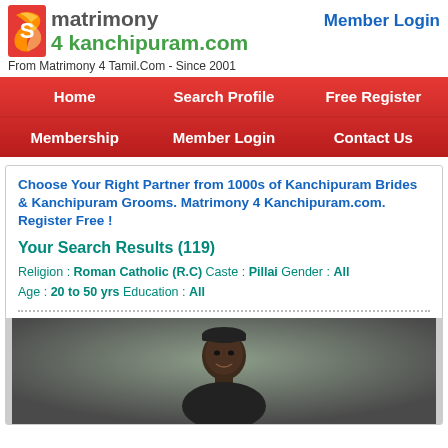[Figure (logo): Matrimony 4 Kanchipuram.com logo with red/orange stylized S icon]
matrimony 4 kanchipuram.com
Member Login
From Matrimony 4 Tamil.Com - Since 2001
Home | Search Profile | Free Register | Membership | Member Login | Contact Us
Choose Your Right Partner from 1000s of Kanchipuram Brides & Kanchipuram Grooms. Matrimony 4 Kanchipuram.com. Register Free !
Your Search Results (119)
Religion : Roman Catholic (R.C) Caste : Pillai Gender : All Age : 20 to 50 yrs Education : All
[Figure (photo): Profile photo of a young man, dark background]